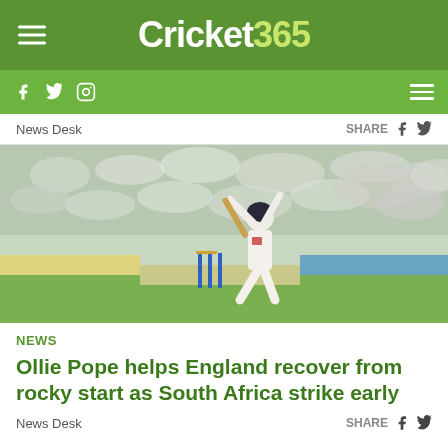Cricket365
News Desk   SHARE
[Figure (photo): Cricket player (Ollie Pope) in white batting kit playing a shot at a cricket ground with a crowd in the background, blue stumps visible]
NEWS
Ollie Pope helps England recover from rocky start as South Africa strike early
News Desk   SHARE